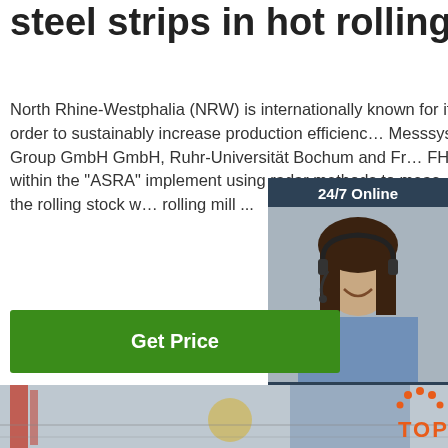steel strips in hot rolling ...
North Rhine-Westphalia (NRW) is internationally known for its steel production. In order to sustainably increase production efficiency, Messsysteme GmbH, SMS Group GmbH, GmbH, Ruhr-Universität Bochum and FHR are cooperating within the "ASRA" implement using radar methods to measure the contour of the edge of the rolling stock within the rolling mill ...
[Figure (photo): Advertisement banner with a woman wearing a headset, dark background. Header says '24/7 Online', bottom text 'Click here for free chat!', orange button 'QUOTATION']
Get Price
[Figure (photo): Bottom portion of page showing an industrial/factory floor image with orange TOP logo overlay in bottom right corner]